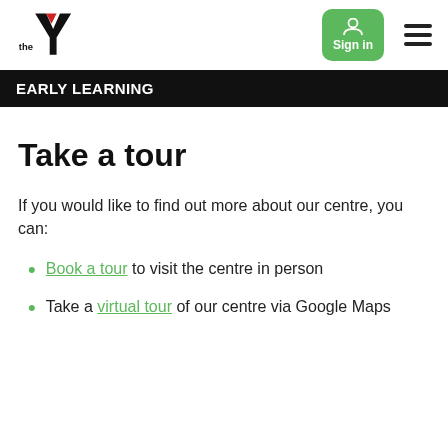[Figure (logo): YMCA 'the Y' logo with red triangle and black Y shape]
EARLY LEARNING
Take a tour
If you would like to find out more about our centre, you can:
Book a tour to visit the centre in person
Take a virtual tour of our centre via Google Maps